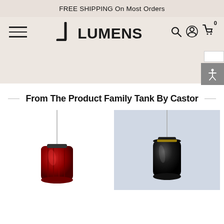FREE SHIPPING On Most Orders
[Figure (logo): Lumens logo with stylized hook mark before the text LUMENS]
From The Product Family Tank By Castor
[Figure (photo): Red pendant lamp hanging on white background]
[Figure (photo): Black pendant lamp hanging on light blue background]